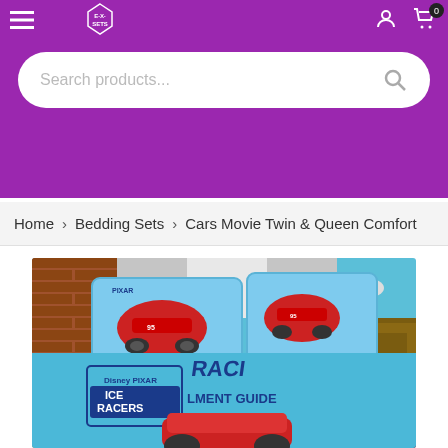≡  [Logo] E·X·SETS  [user icon] [cart icon] 0
Search products...
Home > Bedding Sets > Cars Movie Twin & Queen Comfort
[Figure (photo): Cars Movie bedding set displayed on a bed with blue comforter and pillowcases featuring Lightning McQueen/Ice Racers Disney Pixar Cars characters. The bedding has blue background with red cartoon race cars and text 'ICE RACERS' and 'RACING GUIDE'. Bed is styled in a room with brick wall, wooden nightstand, American flag rug.]